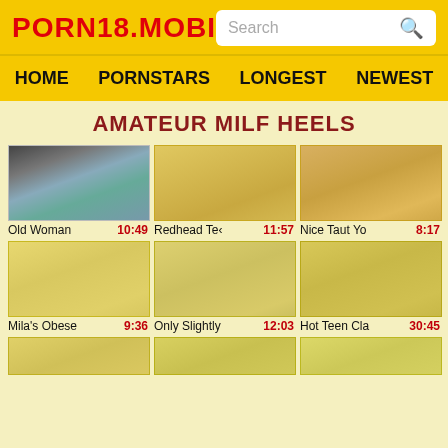PORN18.MOBI
AMATEUR MILF HEELS
[Figure (screenshot): Video thumbnail 1 - Old Woman, duration 10:49]
[Figure (screenshot): Video thumbnail 2 - Redhead Te, duration 11:57]
[Figure (screenshot): Video thumbnail 3 - Nice Taut Yo, duration 8:17]
[Figure (screenshot): Video thumbnail 4 - Mila's Obese, duration 9:36]
[Figure (screenshot): Video thumbnail 5 - Only Slightly, duration 12:03]
[Figure (screenshot): Video thumbnail 6 - Hot Teen Cla, duration 30:45]
[Figure (screenshot): Video thumbnail row 3, partial]
[Figure (screenshot): Video thumbnail row 3, partial]
[Figure (screenshot): Video thumbnail row 3, partial]